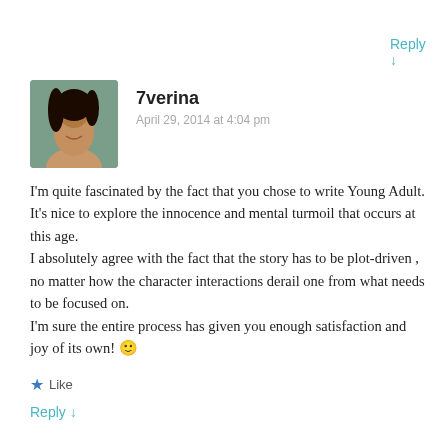Reply ↓
[Figure (photo): Profile photo of a woman with dark hair, smiling, against a green background]
7verina
April 29, 2014 at 4:04 pm
I'm quite fascinated by the fact that you chose to write Young Adult. It's nice to explore the innocence and mental turmoil that occurs at this age.
I absolutely agree with the fact that the story has to be plot-driven , no matter how the character interactions derail one from what needs to be focused on.
I'm sure the entire process has given you enough satisfaction and joy of its own! 🙂
★ Like
Reply ↓